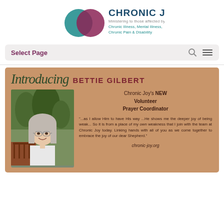[Figure (logo): Chronic Joy logo with two interlocking circles (teal and purple) and tagline 'Ministering to those affected by: Chronic Illness, Mental Illness, Chronic Pain & Disability']
Select Page
[Figure (photo): Promotional card with tan/brown background. Title 'Introducing BETTIE GILBERT' with a photo of a woman with gray hair and glasses smiling. Text: Chronic Joy's NEW Volunteer Prayer Coordinator. Quote: '...as I allow Him to have His way ...He shows me the deeper joy of being weak... So it is from a place of my own weakness that I join with the team at Chronic Joy today. Linking hands with all of you as we come together to embrace the joy of our dear Shepherd.' Website: chronic-joy.org]